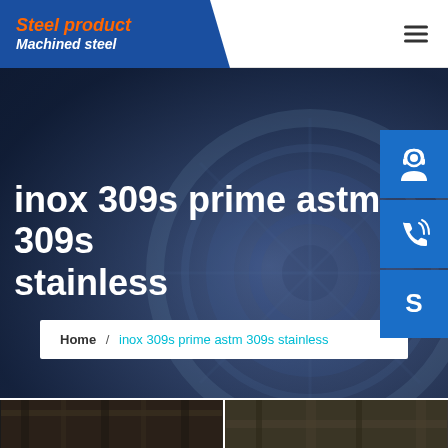Steel product | Machined steel
inox 309s prime astm 309s stainless
Home / inox 309s prime astm 309s stainless
[Figure (photo): Steel manufacturing facility photo strip at bottom of page, two side-by-side dark industrial images]